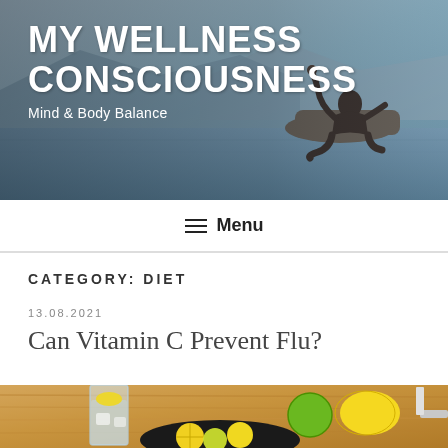[Figure (photo): Website header banner showing a person meditating in lotus position by water, with mountain background. Text overlay reads 'MY WELLNESS CONSCIOUSNESS' and 'Mind & Body Balance'.]
MY WELLNESS CONSCIOUSNESS
Mind & Body Balance
≡ Menu
CATEGORY: DIET
13.08.2021
Can Vitamin C Prevent Flu?
[Figure (photo): Photo of lemons, limes, and a glass of water with lemon slice on a wooden cutting board with a black plate.]